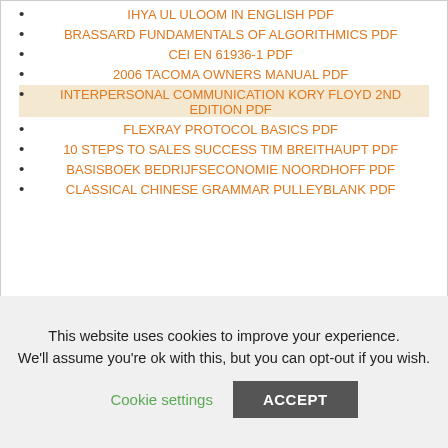IHYA UL ULOOM IN ENGLISH PDF
BRASSARD FUNDAMENTALS OF ALGORITHMICS PDF
CEI EN 61936-1 PDF
2006 TACOMA OWNERS MANUAL PDF
INTERPERSONAL COMMUNICATION KORY FLOYD 2ND EDITION PDF
FLEXRAY PROTOCOL BASICS PDF
10 STEPS TO SALES SUCCESS TIM BREITHAUPT PDF
BASISBOEK BEDRIJFSECONOMIE NOORDHOFF PDF
CLASSICAL CHINESE GRAMMAR PULLEYBLANK PDF
This website uses cookies to improve your experience. We'll assume you're ok with this, but you can opt-out if you wish. Cookie settings ACCEPT